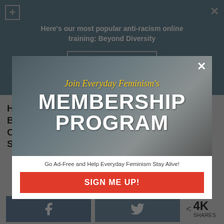[Figure (screenshot): Top banner with anti-racism training promotion: 'Here's our most popular anti-racism online training: Beyond Diversity' with 'Click to learn more' button on steel blue background]
How to Avoid Being the One Who Orientates Someone's Simple Question
[Figure (screenshot): Modal popup overlay: Join Everyday Feminism's MEMBERSHIP PROGRAM - Go Ad-Free and Help Everyday Feminism Stay Alive! with SIGN ME UP! button]
4K SHARES